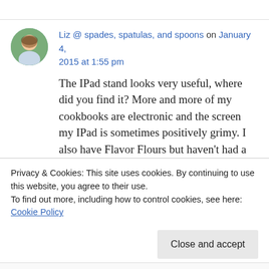Liz @ spades, spatulas, and spoons on January 4, 2015 at 1:55 pm
The IPad stand looks very useful, where did you find it? More and more of my cookbooks are electronic and the screen my IPad is sometimes positively grimy. I also have Flavor Flours but haven't had a chance to cook from it yet. The
Privacy & Cookies: This site uses cookies. By continuing to use this website, you agree to their use.
To find out more, including how to control cookies, see here: Cookie Policy
Close and accept